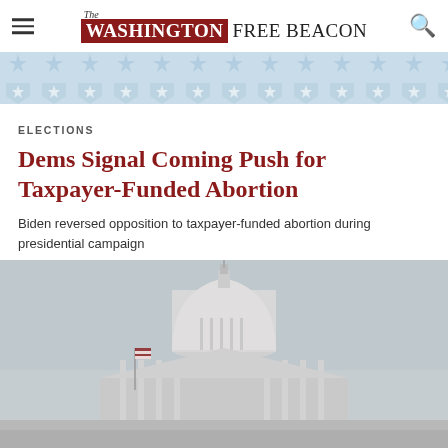The Washington Free Beacon
[Figure (illustration): Stars and shield decorative banner in light blue and white, patriotic motif]
ELECTIONS
Dems Signal Coming Push for Taxpayer-Funded Abortion
Biden reversed opposition to taxpayer-funded abortion during presidential campaign
[Figure (photo): Photo of the United States Capitol building dome against a grey overcast sky]